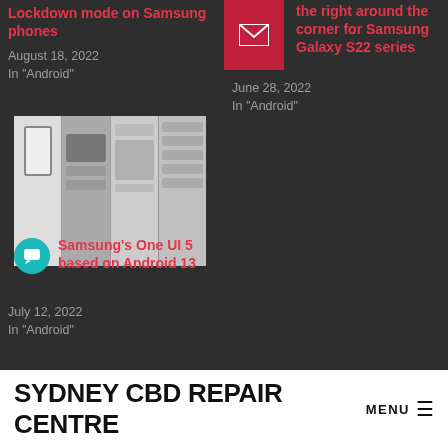Lockdown mode on Samsung phones
August 18, 2022
In "Android"
[Figure (screenshot): Red thumbnail with envelope/email icon for Samsung Galaxy S22 series article]
the right around the corner for Samsung Galaxy S22 series
June 28, 2022
In "Android"
[Figure (screenshot): Four smartphone screen panels showing Samsung One UI 5 based on Android 13 interface]
Samsung's One UI 5 based on Android 13
July 12, 2022
In "Android"
SYDNEY CBD REPAIR CENTRE MENU ☰